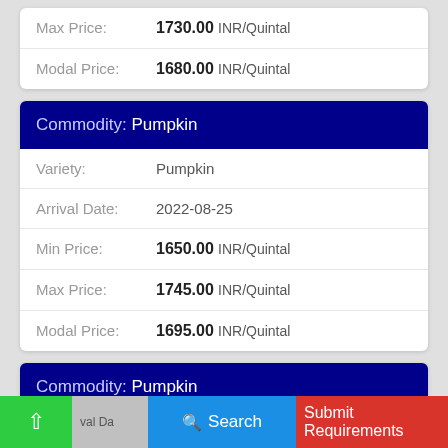Max Price: 1730.00 INR/Quintal
Modal Price: 1680.00 INR/Quintal
Commodity: Pumpkin
Variety: Pumpkin
Arrival Date: 2022-08-25
Min Price: 1650.00 INR/Quintal
Max Price: 1745.00 INR/Quintal
Modal Price: 1695.00 INR/Quintal
Commodity: Pumpkin
Variety: Pumpkin
Search | Submit Requirements